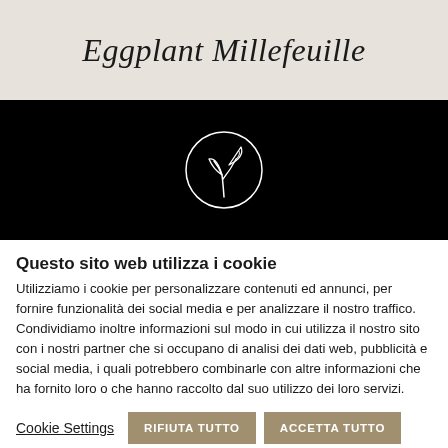Eggplant Millefeuille
[Figure (logo): White line-art logo of a plant/leaf inside a circle on black background]
Questo sito web utilizza i cookie
Utilizziamo i cookie per personalizzare contenuti ed annunci, per fornire funzionalità dei social media e per analizzare il nostro traffico. Condividiamo inoltre informazioni sul modo in cui utilizza il nostro sito con i nostri partner che si occupano di analisi dei dati web, pubblicità e social media, i quali potrebbero combinarle con altre informazioni che ha fornito loro o che hanno raccolto dal suo utilizzo dei loro servizi.
Cookie Settings | RIFIUTA TUTTO | ACCETTA TUTTO